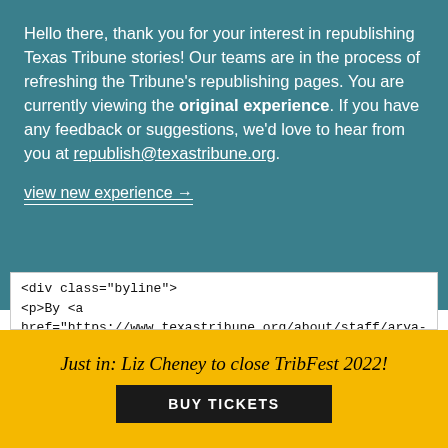Hello there, thank you for your interest in republishing Texas Tribune stories! Our teams are in the process of refreshing the Tribune's republishing pages. You are currently viewing the original experience. If you have any feedback or suggestions, we'd love to hear from you at republish@texastribune.org.
view new experience →
<div class="byline">
<p>By <a href="https://www.texastribune.org/about/staff/arya-sundaram/">Arya Sundaram</a>, The Texas Tribune</p>
<p><time datetime="2019-05-01T15:19:00-0500">May 1, 2019</time></p>
</div>
<p>"<a href="https://www.texastribune.org/2019/05/01/texas-house-passes-bill-kill-driver-responsibility-
✕ CLOSE
Just in: Liz Cheney to close TribFest 2022!
BUY TICKETS